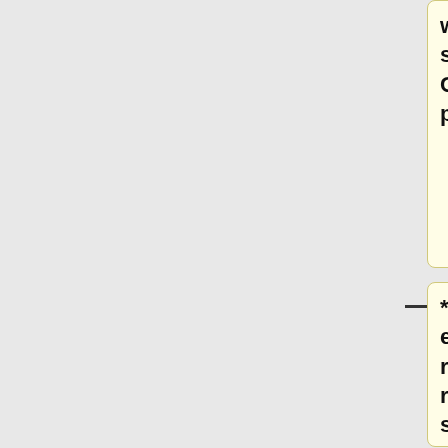written there. NRP file still only written for CleanSpeech mode at present</font>
* The old issue of envelope points not restoring properly when reopening never quite seems to go away on Macs -see {{external|1=[http://audacityteam.org/wiki/index.php?title=Mac_Bugs#Vanishing_Envelopes here]}}.  MJS made some fixes for Windows.  Perhaps they help here too?